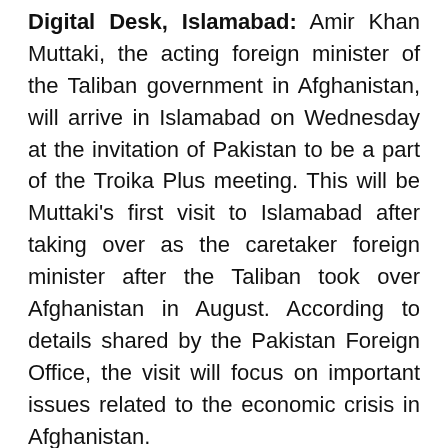Digital Desk, Islamabad: Amir Khan Muttaki, the acting foreign minister of the Taliban government in Afghanistan, will arrive in Islamabad on Wednesday at the invitation of Pakistan to be a part of the Troika Plus meeting. This will be Muttaki's first visit to Islamabad after taking over as the caretaker foreign minister after the Taliban took over Afghanistan in August. According to details shared by the Pakistan Foreign Office, the visit will focus on important issues related to the economic crisis in Afghanistan.
Muttaki will also attend the all-important Troika Plus meeting in Islamabad on Thursday, where special representatives of Afghanistan from the US, Russia, China and Pakistan will meet. The meeting is expected to see not only Afghanistan through the provision of continued humanitarian aid, but also focus on tackling the country's grave economic crisis